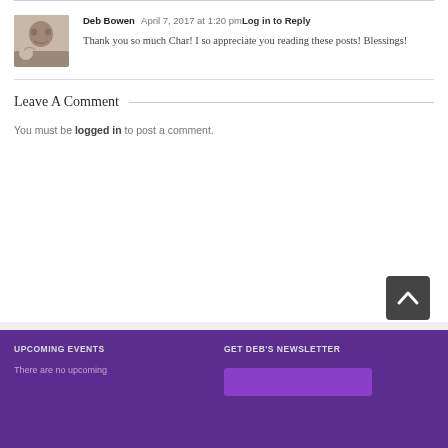Deb Bowen   April 7, 2017 at 1:20 pm  Log in to Reply
Thank you so much Char! I so appreciate you reading these posts! Blessings!
Leave A Comment
You must be logged in to post a comment.
UPCOMING EVENTS
GET DEB'S NEWSLETTER
There are no upcoming